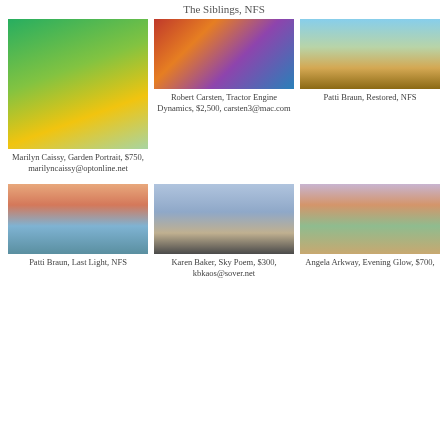The Siblings, NFS
[Figure (photo): Colorful abstract painting of tractor engine parts with vivid reds, blues and greens]
Robert Carsten, Tractor Engine Dynamics, $2,500, carsten3@mac.com
[Figure (photo): Impressionist floral painting showing a large bouquet of colorful flowers from above]
Marilyn Caissy, Garden Portrait, $750, marilyncaissy@optonline.net
[Figure (photo): Realistic landscape painting of a red barn in a golden field with mountains in background]
Patti Braun, Restored, NFS
[Figure (photo): Peaceful mountain lake landscape at dusk with pine trees reflected in water]
Patti Braun, Last Light, NFS
[Figure (photo): Atmospheric sky painting with dramatic clouds at sunrise or sunset]
Karen Baker, Sky Poem, $300, kbkaos@sover.net
[Figure (photo): Autumn landscape with colorful trees in fall foliage against a soft sky]
Angela Arkway, Evening Glow, $700,